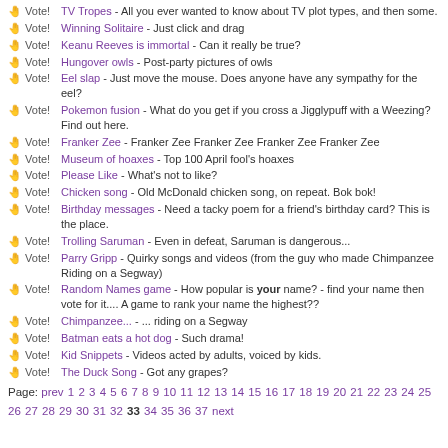Vote! TV Tropes - All you ever wanted to know about TV plot types, and then some.
Vote! Winning Solitaire - Just click and drag
Vote! Keanu Reeves is immortal - Can it really be true?
Vote! Hungover owls - Post-party pictures of owls
Vote! Eel slap - Just move the mouse. Does anyone have any sympathy for the eel?
Vote! Pokemon fusion - What do you get if you cross a Jigglypuff with a Weezing? Find out here.
Vote! Franker Zee - Franker Zee Franker Zee Franker Zee Franker Zee
Vote! Museum of hoaxes - Top 100 April fool's hoaxes
Vote! Please Like - What's not to like?
Vote! Chicken song - Old McDonald chicken song, on repeat. Bok bok!
Vote! Birthday messages - Need a tacky poem for a friend's birthday card? This is the place.
Vote! Trolling Saruman - Even in defeat, Saruman is dangerous...
Vote! Parry Gripp - Quirky songs and videos (from the guy who made Chimpanzee Riding on a Segway)
Vote! Random Names game - How popular is your name? - find your name then vote for it.... A game to rank your name the highest??
Vote! Chimpanzee... - ... riding on a Segway
Vote! Batman eats a hot dog - Such drama!
Vote! Kid Snippets - Videos acted by adults, voiced by kids.
Vote! The Duck Song - Got any grapes?
Page: prev 1 2 3 4 5 6 7 8 9 10 11 12 13 14 15 16 17 18 19 20 21 22 23 24 25 26 27 28 29 30 31 32 33 34 35 36 37 next